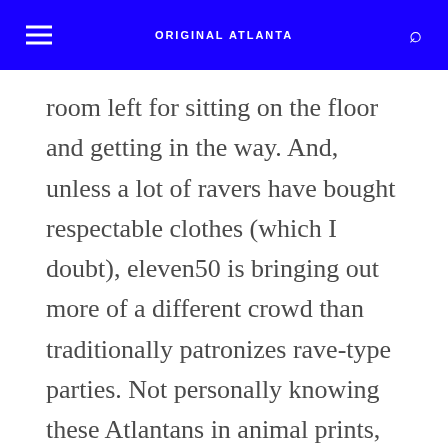ORIGINAL ATLANTA
room left for sitting on the floor and getting in the way. And, unless a lot of ravers have bought respectable clothes (which I doubt), eleven50 is bringing out more of a different crowd than traditionally patronizes rave-type parties. Not personally knowing these Atlantans in animal prints, I'm not going to say a more sophisticated crowd — but at least I didn't get hit in the head with a glowstick